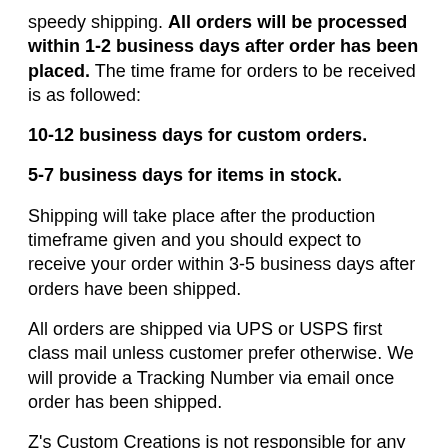speedy shipping. All orders will be processed within 1-2 business days after order has been placed. The time frame for orders to be received is as followed:
10-12 business days for custom orders.
5-7 business days for items in stock.
Shipping will take place after the production timeframe given and you should expect to receive your order within 3-5 business days after orders have been shipped.
All orders are shipped via UPS or USPS first class mail unless customer prefer otherwise. We will provide a Tracking Number via email once order has been shipped.
Z's Custom Creations is not responsible for any